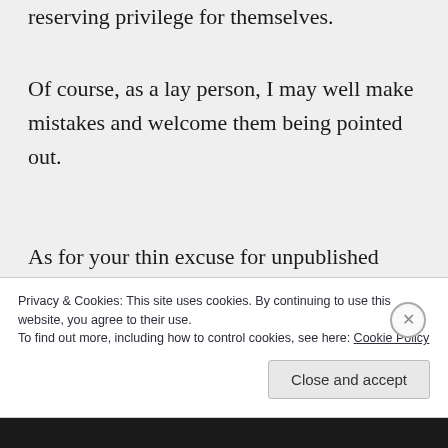reserving privilege for themselves.
Of course, as a lay person, I may well make mistakes and welcome them being pointed out.
As for your thin excuse for unpublished positive studies: I just don't buy it. Language and formatting issues are not insurmountable. I'd have thought it not impossible to get some
Privacy & Cookies: This site uses cookies. By continuing to use this website, you agree to their use.
To find out more, including how to control cookies, see here: Cookie Policy
Close and accept